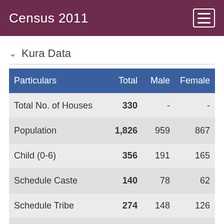Census 2011
Kura Data
| Particulars | Total | Male | Female |
| --- | --- | --- | --- |
| Total No. of Houses | 330 | - | - |
| Population | 1,826 | 959 | 867 |
| Child (0-6) | 356 | 191 | 165 |
| Schedule Caste | 140 | 78 | 62 |
| Schedule Tribe | 274 | 148 | 126 |
| Literacy | 42.45 % | 60.81 % | 22.36 % |